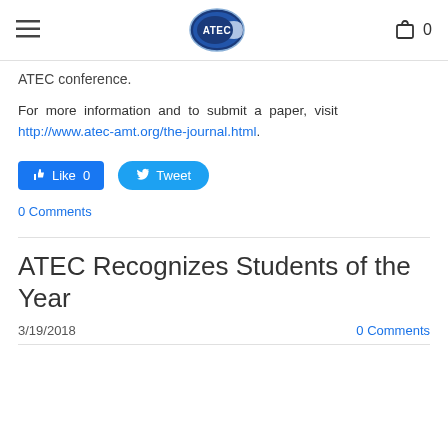ATEC [logo] 0
ATEC conference.
For more information and to submit a paper, visit http://www.atec-amt.org/the-journal.html.
[Figure (other): Social media buttons: Facebook Like 0 button and Twitter Tweet button]
0 Comments
ATEC Recognizes Students of the Year
3/19/2018   0 Comments